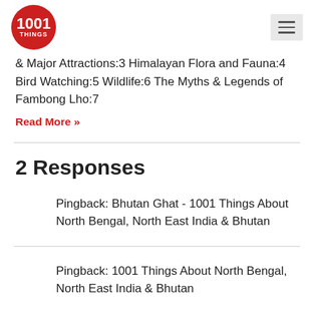1001 THINGS
& Major Attractions:3 Himalayan Flora and Fauna:4 Bird Watching:5 Wildlife:6 The Myths & Legends of Fambong Lho:7
Read More »
2 Responses
Pingback: Bhutan Ghat - 1001 Things About North Bengal, North East India & Bhutan
Pingback: 1001 Things About North Bengal, North East India & Bhutan